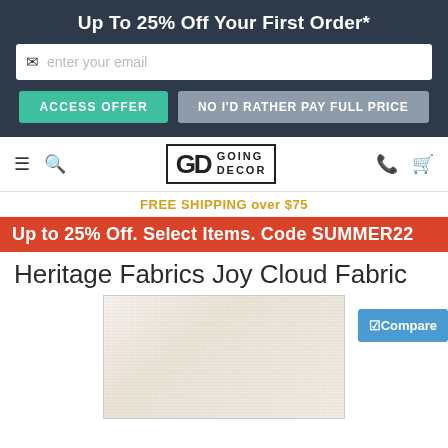Up To 25% Off Your First Order*
enter your email
ACCESS OFFER
NO I'D RATHER PAY FULL PRICE
[Figure (logo): Going Decor logo with GD initials in a bordered box]
FREE SHIPPING over $75
Up to 25% Off. Select Items. Code SUMMER22
Heritage Fabrics Joy Cloud Fabric
[Figure (photo): Close-up photo of cream/white textured fabric]
Compare